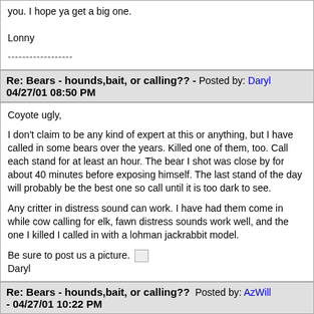you. I hope ya get a big one.

Lonny

------------------
Re: Bears - hounds,bait, or calling?? - Posted by: Daryl 04/27/01 08:50 PM
Coyote ugly,

I don't claim to be any kind of expert at this or anything, but I have called in some bears over the years. Killed one of them, too. Call each stand for at least an hour. The bear I shot was close by for about 40 minutes before exposing himself. The last stand of the day will probably be the best one so call until it is too dark to see.

Any critter in distress sound can work. I have had them come in while cow calling for elk, fawn distress sounds work well, and the one I killed I called in with a lohman jackrabbit model.

Be sure to post us a picture. [image]
Daryl
Re: Bears - hounds,bait, or calling??  Posted by: AzWill - 04/27/01 10:22 PM
Daryl's advice for calling bears is pretty sound stuff and pretty...